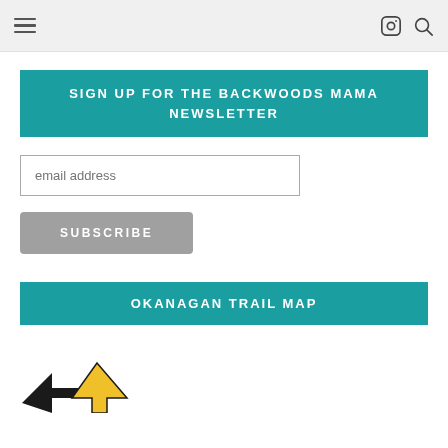≡  [Instagram icon]  [Search icon]
SIGN UP FOR THE BACKWOODS MAMA NEWSLETTER
email address
SUBSCRIBE
OKANAGAN TRAIL MAP
[Figure (illustration): Partial view of a trail map illustration showing arrow/navigation symbols at the bottom of the page]